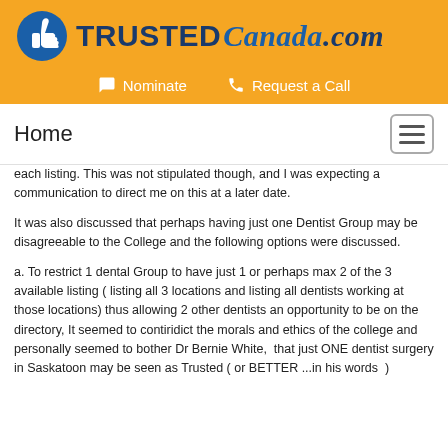[Figure (logo): TrustedCanada.com logo with thumbs up icon and text]
Nominate   Request a Call
Home
each listing. This was not stipulated though, and I was expecting a communication to direct me on this at a later date.
It was also discussed that perhaps having just one Dentist Group may be disagreeable to the College and the following options were discussed.
a. To restrict 1 dental Group to have just 1 or perhaps max 2 of the 3 available listing ( listing all 3 locations and listing all dentists working at those locations) thus allowing 2 other dentists an opportunity to be on the directory, It seemed to contiridict the morals and ethics of the college and personally seemed to bother Dr Bernie White,  that just ONE dentist surgery in Saskatoon may be seen as Trusted ( or BETTER ...in his words  )